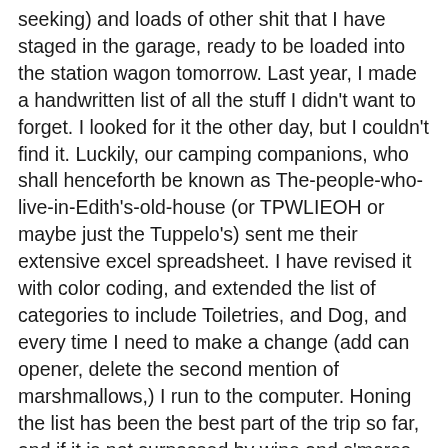seeking) and loads of other shit that I have staged in the garage, ready to be loaded into the station wagon tomorrow. Last year, I made a handwritten list of all the stuff I didn't want to forget. I looked for it the other day, but I couldn't find it. Luckily, our camping companions, who shall henceforth be known as The-people-who-live-in-Edith's-old-house (or TPWLIEOH or maybe just the Tuppelo's) sent me their extensive excel spreadsheet. I have revised it with color coding, and extended the list of categories to include Toiletries, and Dog, and every time I need to make a change (add can opener, delete the second mention of marshmallows,) I run to the computer. Honing the list has been the best part of the trip so far, and if it is not surpassed by wine and s'mores in front of the campfire tomorrow night, I have serious problems.
I have been on it today, my friends. Aside from my little superfluous trip to Ikea (which did yield cheap camping dish towels and a set of plastic kitchen utensils at a price so low I'd have been a fool not to buy them) I have kept very busy and not taken any naps. I baked 78 dozen chocolate chip cookies, I have make Pesto Pasta and Peas, I have collected most of the things on the massive list and put them